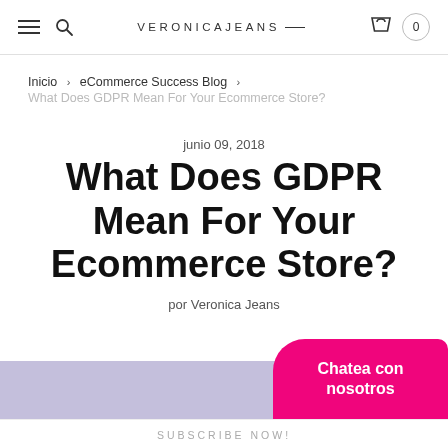VERONICAJEANS — navigation bar with hamburger, search, logo, and cart (0)
Inicio > eCommerce Success Blog >
What Does GDPR Mean For Your Ecommerce Store?
junio 09, 2018
What Does GDPR Mean For Your Ecommerce Store?
por Veronica Jeans
Chatea con nosotros
SUBSCRIBE NOW!